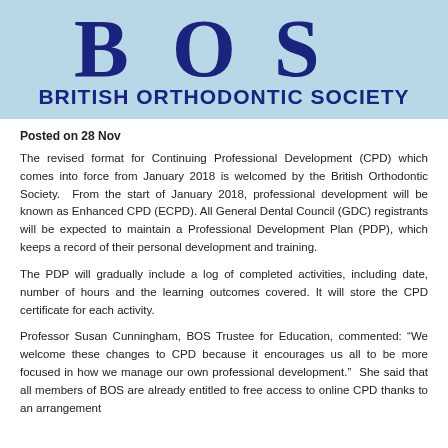[Figure (logo): BOS British Orthodontic Society logo — large 'BOS' letters in dark navy blue with a light blue banner background, followed by 'BRITISH ORTHODONTIC SOCIETY' in bold navy below]
Posted on 28 Nov
The revised format for Continuing Professional Development (CPD) which comes into force from January 2018 is welcomed by the British Orthodontic Society. From the start of January 2018, professional development will be known as Enhanced CPD (ECPD). All General Dental Council (GDC) registrants will be expected to maintain a Professional Development Plan (PDP), which keeps a record of their personal development and training.
The PDP will gradually include a log of completed activities, including date, number of hours and the learning outcomes covered. It will store the CPD certificate for each activity.
Professor Susan Cunningham, BOS Trustee for Education, commented: “We welcome these changes to CPD because it encourages us all to be more focused in how we manage our own professional development.” She said that all members of BOS are already entitled to free access to online CPD thanks to an arrangement